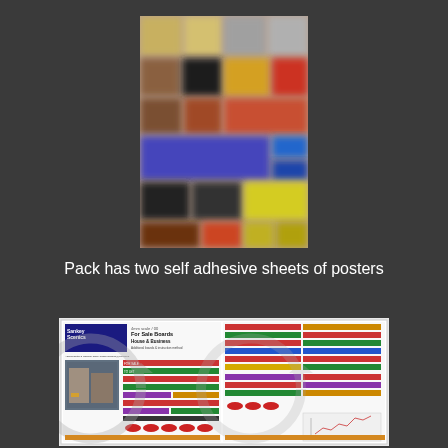[Figure (photo): Blurred close-up photo of various colorful for-sale/estate agent boards and signs, showing yellow, red, black, purple, and other colored signage panels in a collage-like arrangement.]
Pack has two self adhesive sheets of posters
[Figure (photo): Photo of a printed instruction/product sheet for Sankey Scenics 4mm scale / OO For Sale Boards House & Business, showing layout sheets with miniature for sale board designs, partially obscured by circular watermark arrows.]